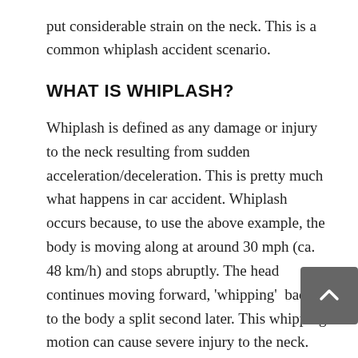put considerable strain on the neck. This is a common whiplash accident scenario.
WHAT IS WHIPLASH?
Whiplash is defined as any damage or injury to the neck resulting from sudden acceleration/deceleration. This is pretty much what happens in car accident. Whiplash occurs because, to use the above example, the body is moving along at around 30 mph (ca. 48 km/h) and stops abruptly. The head continues moving forward, 'whipping' back to the body a split second later. This whipping motion can cause severe injury to the neck. Pinched nerves can result. The 'pinching' of these nerves can affect the functionality of the entire area. Muscles can become constricted and soft tissue damage can also occur. Whiplash symptoms can